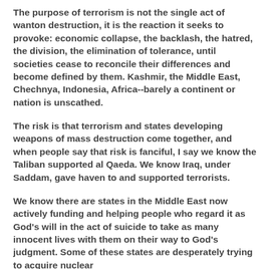The purpose of terrorism is not the single act of wanton destruction, it is the reaction it seeks to provoke: economic collapse, the backlash, the hatred, the division, the elimination of tolerance, until societies cease to reconcile their differences and become defined by them. Kashmir, the Middle East, Chechnya, Indonesia, Africa--barely a continent or nation is unscathed.
The risk is that terrorism and states developing weapons of mass destruction come together, and when people say that risk is fanciful, I say we know the Taliban supported al Qaeda. We know Iraq, under Saddam, gave haven to and supported terrorists.
We know there are states in the Middle East now actively funding and helping people who regard it as God's will in the act of suicide to take as many innocent lives with them on their way to God's judgment. Some of these states are desperately trying to acquire nuclear